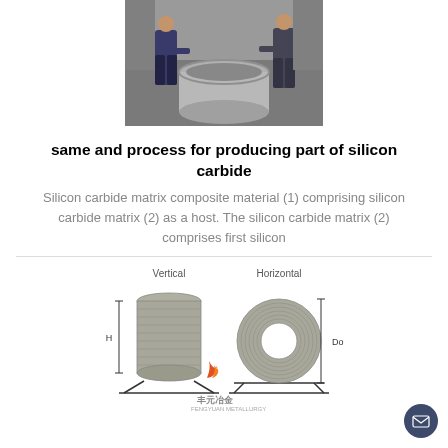[Figure (photo): Two workers handling a large cylindrical silicon carbide component in a factory setting]
same and process for producing part of silicon carbide
Silicon carbide matrix composite material (1) comprising silicon carbide matrix (2) as a host. The silicon carbide matrix (2) comprises first silicon
[Figure (photo): Diagram showing Vertical and Horizontal orientations of silicon carbide coil/roll products with dimension labels H and Do, with Fengyuan Metallurgy company logo and branding]
[Figure (logo): Fengyuan Metallurgy (丰元冶金) company logo at bottom of diagram]